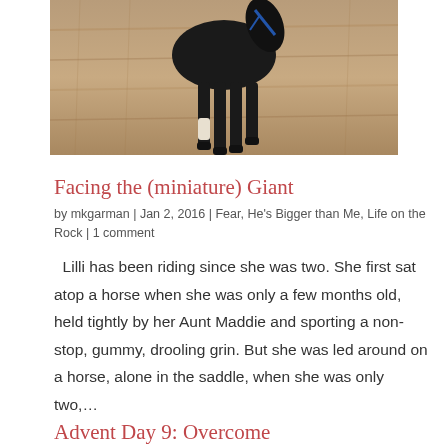[Figure (photo): A horse's legs and lower body visible walking on sandy/straw-covered ground, viewed from below/behind. The horse appears dark colored against a tan/sandy background.]
Facing the (miniature) Giant
by mkgarman | Jan 2, 2016 | Fear, He's Bigger than Me, Life on the Rock | 1 comment
Lilli has been riding since she was two. She first sat atop a horse when she was only a few months old, held tightly by her Aunt Maddie and sporting a non-stop, gummy, drooling grin. But she was led around on a horse, alone in the saddle, when she was only two,...
Advent Day 9: Overcome